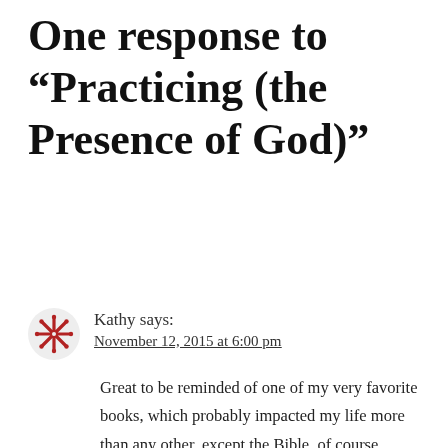One response to “Practicing (the Presence of God)”
Kathy says:
November 12, 2015 at 6:00 pm
Great to be reminded of one of my very favorite books, which probably impacted my life more than any other, except the Bible, of course. Practicing God’s presence in the mundane tasks of life gives meaning and an opportunity for blessing and humbling. Thank you for writing this!